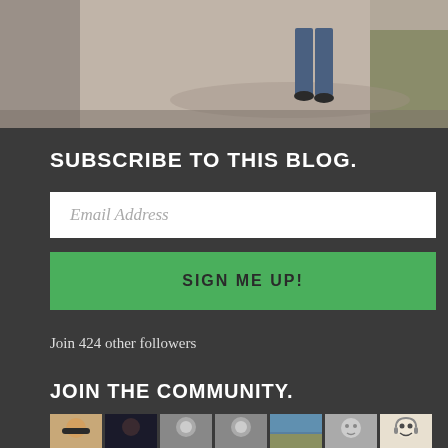[Figure (photo): Partial photo of a person walking on a gravel path, showing legs in jeans and shoes, with grassy area to the right.]
SUBSCRIBE TO THIS BLOG.
Email Address
SIGN ME UP!
Join 424 other followers
JOIN THE COMMUNITY.
[Figure (photo): Row of 7 community member avatar thumbnails.]